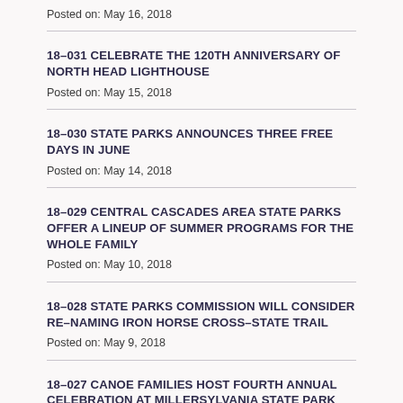Posted on: May 16, 2018
18-031 CELEBRATE THE 120TH ANNIVERSARY OF NORTH HEAD LIGHTHOUSE
Posted on: May 15, 2018
18-030 STATE PARKS ANNOUNCES THREE FREE DAYS IN JUNE
Posted on: May 14, 2018
18-029 CENTRAL CASCADES AREA STATE PARKS OFFER A LINEUP OF SUMMER PROGRAMS FOR THE WHOLE FAMILY
Posted on: May 10, 2018
18-028 STATE PARKS COMMISSION WILL CONSIDER RE-NAMING IRON HORSE CROSS-STATE TRAIL
Posted on: May 9, 2018
18-027 CANOE FAMILIES HOST FOURTH ANNUAL CELEBRATION AT MILLERSYLVANIA STATE PARK